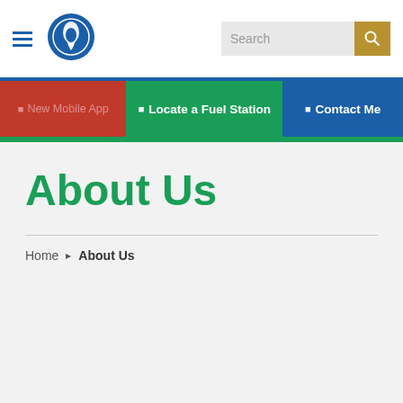Reliance BP Mobility — Navigation header with hamburger menu, logo, and search bar
[Figure (logo): Reliance BP blue circular logo with flame symbol]
New Mobile App | Locate a Fuel Station | Contact Me
About Us
Home › About Us